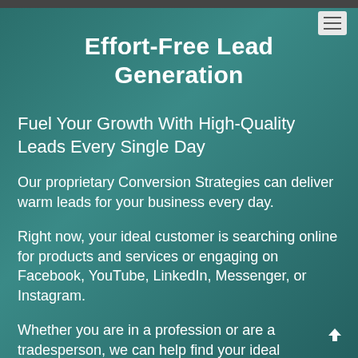Effort-Free Lead Generation
Fuel Your Growth With High-Quality Leads Every Single Day
Our proprietary Conversion Strategies can deliver warm leads for your business every day.
Right now, your ideal customer is searching online for products and services or engaging on Facebook, YouTube, LinkedIn, Messenger, or Instagram.
Whether you are in a profession or are a tradesperson, we can help find your ideal